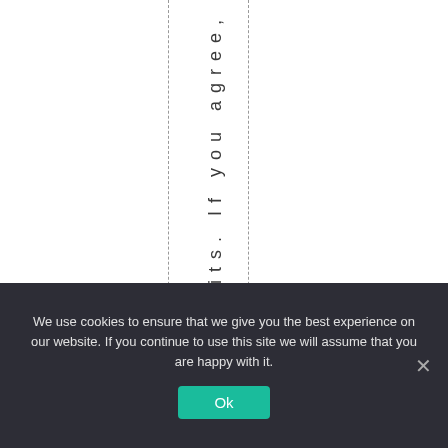efits. If you agree, i
We use cookies to ensure that we give you the best experience on our website. If you continue to use this site we will assume that you are happy with it.